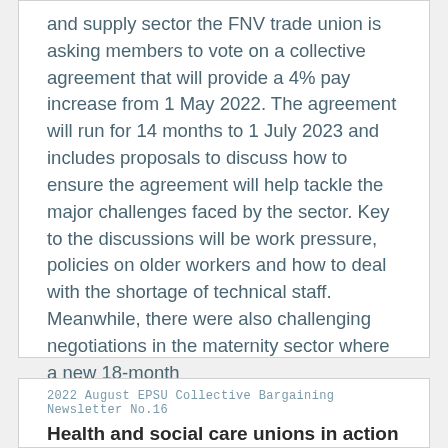and supply sector the FNV trade union is asking members to vote on a collective agreement that will provide a 4% pay increase from 1 May 2022. The agreement will run for 14 months to 1 July 2023 and includes proposals to discuss how to ensure the agreement will help tackle the major challenges faced by the sector. Key to the discussions will be work pressure, policies on older workers and how to deal with the shortage of technical staff. Meanwhile, there were also challenging negotiations in the maternity sector where a new 18-month
2022 August EPSU Collective Bargaining Newsletter No.16
Health and social care unions in action